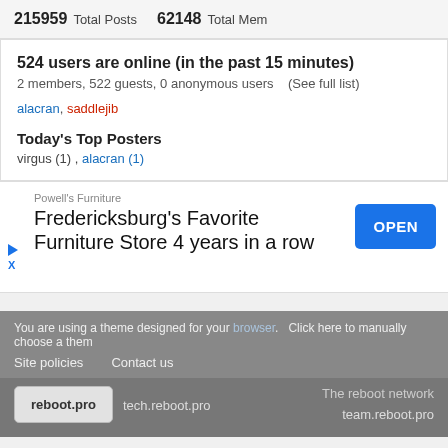215959 Total Posts  62148 Total Members
524 users are online (in the past 15 minutes)
2 members, 522 guests, 0 anonymous users  (See full list)
alacran, saddlejib
Today's Top Posters
virgus (1) , alacran (1)
[Figure (screenshot): Advertisement for Powell's Furniture: Fredericksburg's Favorite Furniture Store 4 years in a row, with an OPEN button]
You are using a theme designed for your browser. Click here to manually choose a theme.
Site policies   Contact us
reboot.pro   tech.reboot.pro   The reboot network   team.reboot.pro